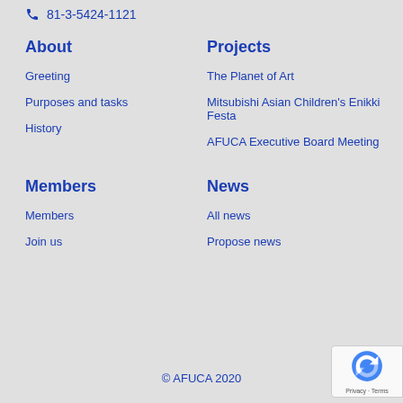81-3-5424-1121
About
Projects
Greeting
The Planet of Art
Purposes and tasks
Mitsubishi Asian Children's Enikki Festa
History
AFUCA Executive Board Meeting
Members
News
Members
All news
Join us
Propose news
© AFUCA 2020